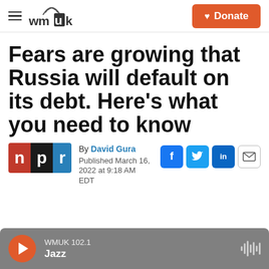WMUK — Donate
Fears are growing that Russia will default on its debt. Here's what you need to know
By David Gura
Published March 16, 2022 at 9:18 AM EDT
[Figure (logo): NPR logo with red N, black P, blue R blocks]
[Figure (infographic): Social share buttons: Facebook (f), Twitter bird, LinkedIn (in), and email envelope icon]
WMUK 102.1
Jazz